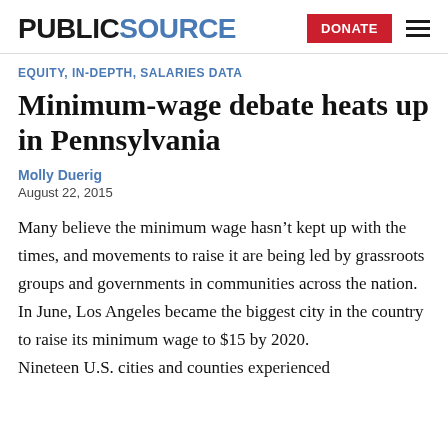PUBLICSOURCE | DONATE
EQUITY, IN-DEPTH, SALARIES DATA
Minimum-wage debate heats up in Pennsylvania
Molly Duerig
August 22, 2015
Many believe the minimum wage hasn’t kept up with the times, and movements to raise it are being led by grassroots groups and governments in communities across the nation. In June, Los Angeles became the biggest city in the country to raise its minimum wage to $15 by 2020.
Nineteen U.S. cities and counties experienced